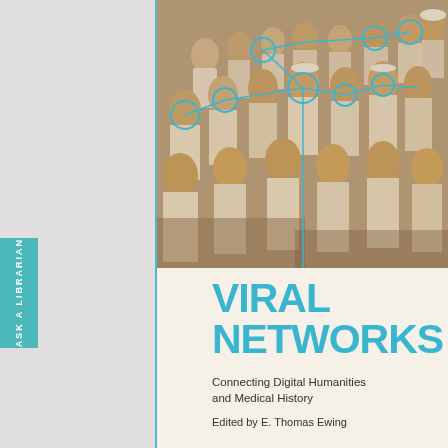[Figure (photo): Sepia-toned historical photograph of a large group of women dressed in white nursing uniforms, sitting and standing in rows. Blue circular network nodes are overlaid on several faces, connected by blue lines forming a network graph pattern.]
VIRAL NETWORKS
Connecting Digital Humanities and Medical History
Edited by E. Thomas Ewing